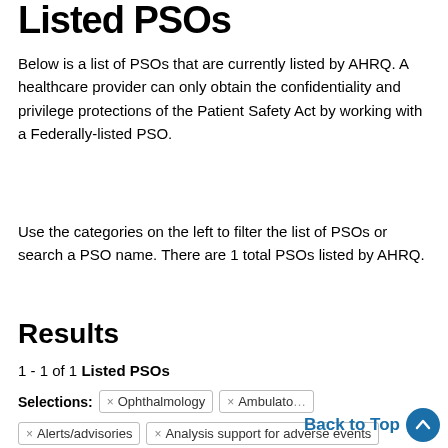Listed PSOs
Below is a list of PSOs that are currently listed by AHRQ. A healthcare provider can only obtain the confidentiality and privilege protections of the Patient Safety Act by working with a Federally-listed PSO.
Use the categories on the left to filter the list of PSOs or search a PSO name. There are 1 total PSOs listed by AHRQ.
Results
1 - 1 of 1 Listed PSOs
Selections: × Ophthalmology × Ambulato... × Alerts/advisories × Analysis support for adverse events
Back to Top